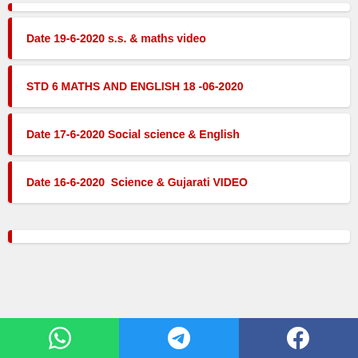Date 19-6-2020 s.s. & maths video
STD 6 MATHS AND ENGLISH 18 -06-2020
Date 17-6-2020 Social science & English
Date 16-6-2020  Science & Gujarati VIDEO
[Figure (other): Social media share bar with WhatsApp, Telegram, and Facebook buttons]